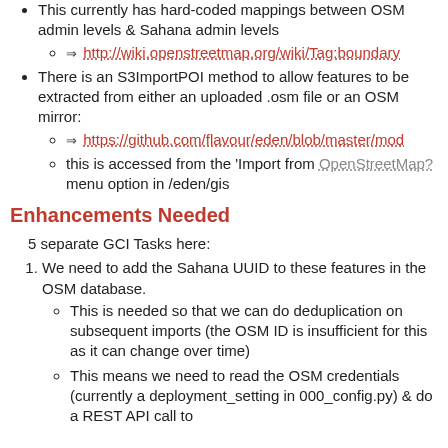This currently has hard-coded mappings between OSM admin levels & Sahana admin levels
http://wiki.openstreetmap.org/wiki/Tag:boundary
There is an S3ImportPOI method to allow features to be extracted from either an uploaded .osm file or an OSM mirror:
https://github.com/flavour/eden/blob/master/mo...
this is accessed from the 'Import from OpenStreetMap? menu option in /eden/gis
Enhancements Needed
5 separate GCI Tasks here:
We need to add the Sahana UUID to these features in the OSM database.
This is needed so that we can do deduplication on subsequent imports (the OSM ID is insufficient for this as it can change over time)
This means we need to read the OSM credentials (currently a deployment_setting in 000_config.py) & do a REST API call to